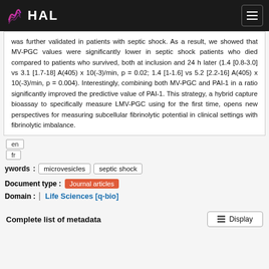HAL
was further validated in patients with septic shock. As a result, we showed that MV-PGC values were significantly lower in septic shock patients who died compared to patients who survived, both at inclusion and 24 h later (1.4 [0.8-3.0] vs 3.1 [1.7-18] A(405) x 10(-3)/min, p = 0.02; 1.4 [1-1.6] vs 5.2 [2.2-16] A(405) x 10(-3)/min, p = 0.004). Interestingly, combining both MV-PGC and PAI-1 in a ratio significantly improved the predictive value of PAI-1. This strategy, a hybrid capture bioassay to specifically measure LMV-PGC using for the first time, opens new perspectives for measuring subcellular fibrinolytic potential in clinical settings with fibrinolytic imbalance.
en
fr
Keywords : microvesicles septic shock
Document type : Journal articles
Domain : Life Sciences [q-bio]
Complete list of metadata  Display